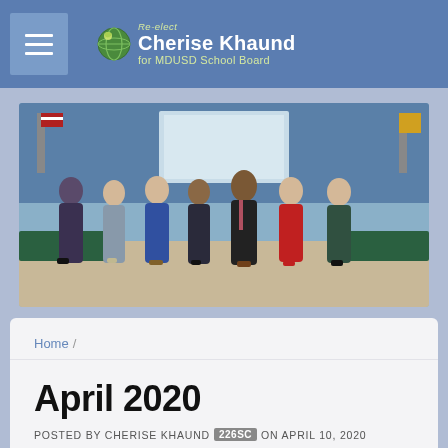Cherise Khaund for MDUSD School Board
[Figure (photo): Group photo of seven people standing together in front of a stage/auditorium setting with blue curtains and a projection screen. They are posed in a row smiling at the camera.]
Home /
April 2020
POSTED BY CHERISE KHAUND 226SC ON APRIL 10, 2020